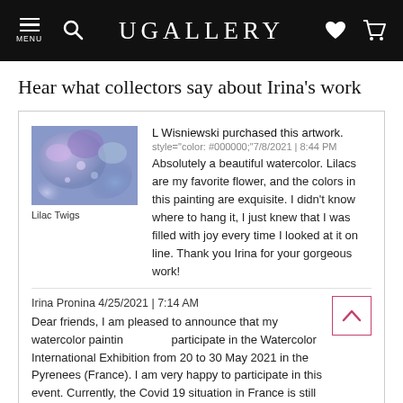UGALLERY
Hear what collectors say about Irina's work
[Figure (photo): Thumbnail image of painting titled 'Lilac Twigs' — a close-up watercolor of lilac flowers in purple, blue, and white tones]
Lilac Twigs
L Wisniewski purchased this artwork. style="color: #000000;"7/8/2021 | 8:44 PM
Absolutely a beautiful watercolor. Lilacs are my favorite flower, and the colors in this painting are exquisite. I didn't know where to hang it, I just knew that I was filled with joy every time I looked at it on line. Thank you Irina for your gorgeous work!
Irina Pronina 4/25/2021 | 7:14 AM
Dear friends, I am pleased to announce that my watercolor painting will participate in the Watercolor International Exhibition from 20 to 30 May 2021 in the Pyrenees (France). I am very happy to participate in this event. Currently, the Covid 19 situation in France is still serious and the